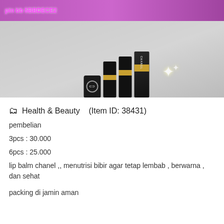[Figure (photo): Product photo of Chanel lip balm cosmetics - black and gold lipstick tubes and boxes arranged together, with purple/pink banner at top showing 'pin bb 5BBDECE2' and sparkle effect]
🗂 Health & Beauty   (Item ID: 38431)
pembelian
3pcs : 30.000
6pcs : 25.000
lip balm chanel ,, menutrisi bibir agar tetap lembab , berwarna , dan sehat
packing di jamin aman